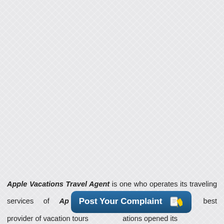[Figure (illustration): Light gray crosshatch/diamond pattern background filling most of the page]
Apple Vacations Travel Agent is one who operates its traveling services of Apple Vacations. Apple Vacations is known to be the best provider of vacation tours [Post Your Complaint button] ations opened its